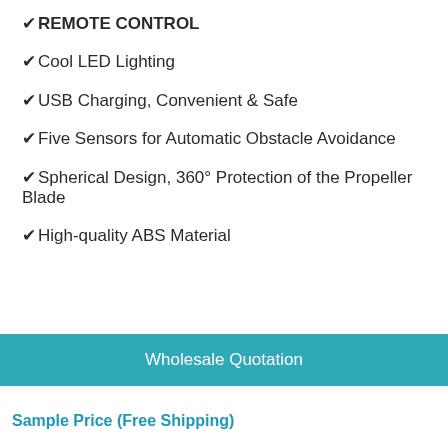✔ REMOTE CONTROL
✔ Cool LED Lighting
✔ USB Charging, Convenient & Safe
✔ Five Sensors for Automatic Obstacle Avoidance
✔ Spherical Design, 360° Protection of the Propeller Blade
✔ High-quality ABS Material
Wholesale Quotation
Sample Price (Free Shipping)